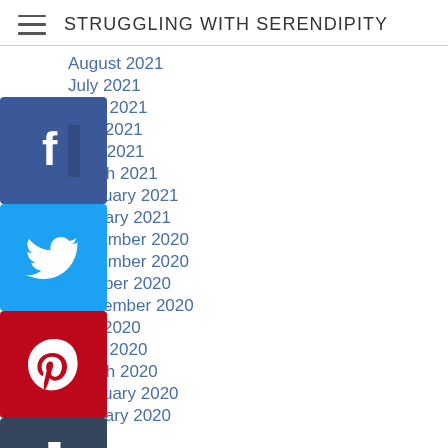STRUGGLING WITH SERENDIPITY
August 2021
July 2021
June 2021
May 2021
April 2021
March 2021
February 2021
January 2021
December 2020
November 2020
October 2020
September 2020
July 2020
June 2020
March 2020
February 2020
January 2020
[Figure (screenshot): Social media share buttons: Facebook, Twitter, Pinterest, Tumblr, Blogger, Reddit icons overlaid on left side of archive list]